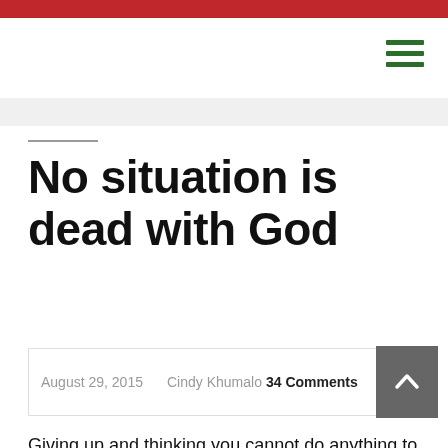No situation is dead with God
August 29, 2015  Cindy Khumalo  34 Comments
Giving up and thinking you cannot do anything to change your situation is what has made people continue to live a life that they are not suppose to. It is God's desire that His children must flourish in all areas of their lives, and that is why the book of Deuteronomy has many promises of blessing to God's children. "May you have a future..."